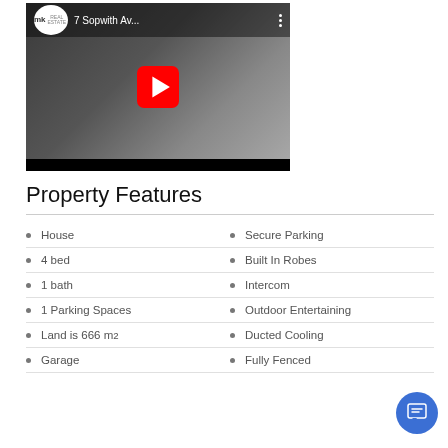[Figure (screenshot): YouTube video thumbnail for '7 Sopwith Av...' from MK Real Estate, showing an interior room, with a red play button in the center]
Property Features
House
4 bed
1 bath
1 Parking Spaces
Land is 666 m²
Garage
Secure Parking
Built In Robes
Intercom
Outdoor Entertaining
Ducted Cooling
Fully Fenced